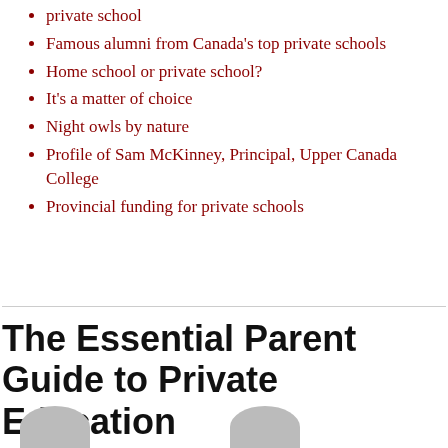private school
Famous alumni from Canada's top private schools
Home school or private school?
It's a matter of choice
Night owls by nature
Profile of Sam McKinney, Principal, Upper Canada College
Provincial funding for private schools
The Essential Parent Guide to Private Education